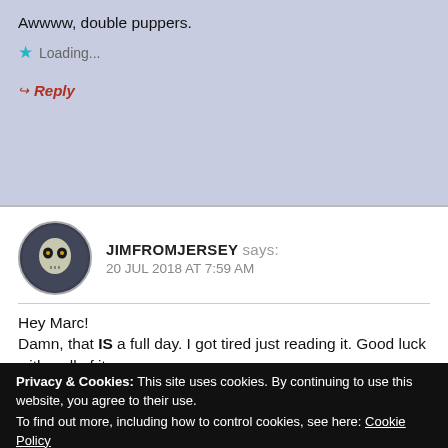Awwww, double puppers.
Loading...
Reply
JIMFROMJERSEY says:
20 JUL 2018 AT 7:59 AM
Hey Marc!
Damn, that IS a full day. I got tired just reading it. Good luck with...all of it.
Loading...
Privacy & Cookies: This site uses cookies. By continuing to use this website, you agree to their use.
To find out more, including how to control cookies, see here: Cookie Policy
Close and accept